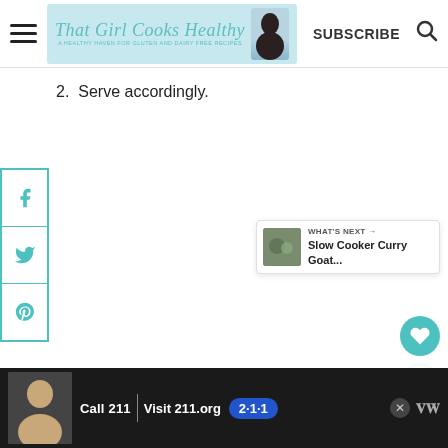That Girl Cooks Healthy — A healthy haven for gluten and dairy free recipes | SUBSCRIBE
2. Serve accordingly.
[Figure (infographic): Social share sidebar with Facebook, Twitter, and Pinterest icons in teal border]
[Figure (infographic): Floating teal heart button and white share button on right side]
[Figure (infographic): What's Next card showing Slow Cooker Curry Goat... with thumbnail]
[Figure (infographic): Ad banner: Call 211 | Visit 211.org with 2-1-1 badge logo, person photo, close button]